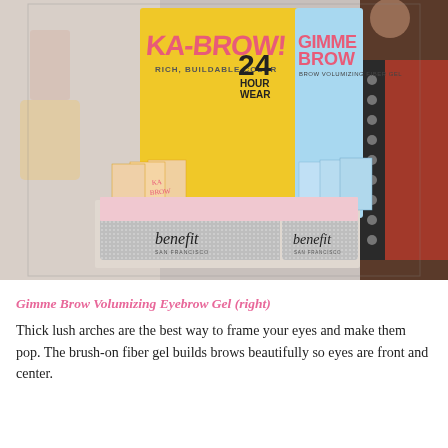[Figure (photo): Retail counter display showing two Benefit Cosmetics brow product displays side by side. Left display has yellow background with 'KA-BROW! Rich, Buildable Color 24 Hour Wear' signage and Ka-Brow product boxes. Right display has light blue background with 'GIMME BROW Brow Volumizing Fiber Gel' signage and Gimme Brow product boxes. Both displays sit on silver glitter boxes branded 'benefit SAN FRANCISCO'. Surrounding retail environment visible.]
Gimme Brow Volumizing Eyebrow Gel (right)
Thick lush arches are the best way to frame your eyes and make them pop. The brush-on fiber gel builds brows beautifully so eyes are front and center.